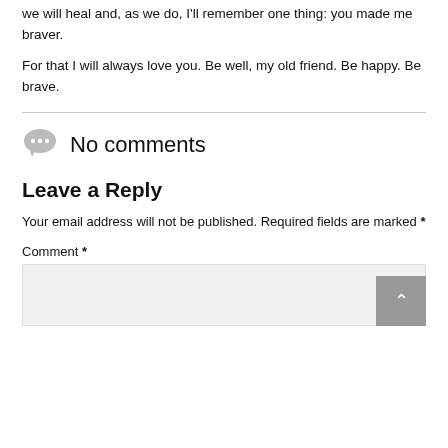we will heal and, as we do, I'll remember one thing: you made me braver.
For that I will always love you. Be well, my old friend. Be happy. Be brave.
No comments
Leave a Reply
Your email address will not be published. Required fields are marked *
Comment *